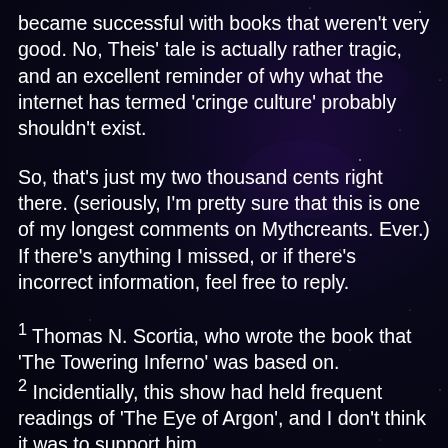became successful with books that weren't very good. No, Theis' tale is actually rather tragic, and an excellent reminder of why what the internet has termed 'cringe culture' probably shouldn't exist.
So, that's just my two thousand cents right there. (seriously, I'm pretty sure that this is one of my longest comments on Mythcreants. Ever.) If there's anything I missed, or if there's incorrect information, feel free to reply.
¹ Thomas N. Scortia, who wrote the book that 'The Towering Inferno' was based on.
² Incidentially, this show had held frequent readings of 'The Eye of Argon', and I don't think it was to support him.